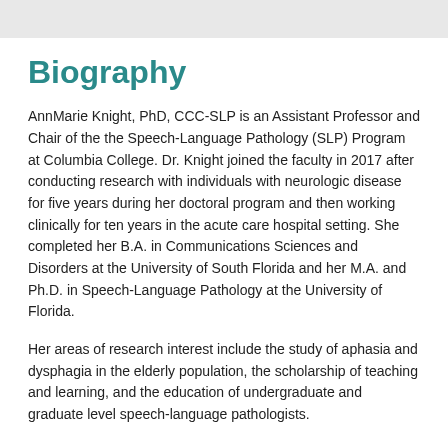Biography
AnnMarie Knight, PhD, CCC-SLP is an Assistant Professor and Chair of the the Speech-Language Pathology (SLP) Program at Columbia College. Dr. Knight joined the faculty in 2017 after conducting research with individuals with neurologic disease for five years during her doctoral program and then working clinically for ten years in the acute care hospital setting. She completed her B.A. in Communications Sciences and Disorders at the University of South Florida and her M.A. and Ph.D. in Speech-Language Pathology at the University of Florida.
Her areas of research interest include the study of aphasia and dysphagia in the elderly population, the scholarship of teaching and learning, and the education of undergraduate and graduate level speech-language pathologists.